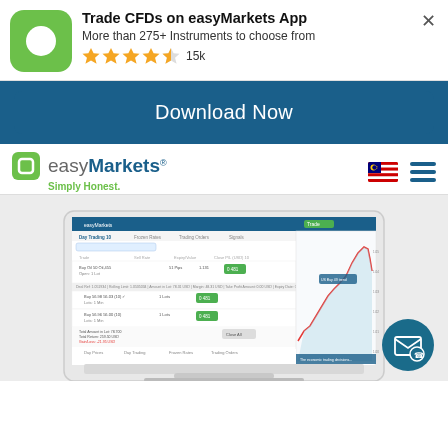[Figure (infographic): easyMarkets app promotional banner with green app icon (white circle inside), title 'Trade CFDs on easyMarkets App', subtitle 'More than 275+ Instruments to choose from', 4.5 star rating with '15k' reviews, and a close (X) button]
Trade CFDs on easyMarkets App
More than 275+ Instruments to choose from
15k
Download Now
[Figure (logo): easyMarkets logo with green square icon and text 'easyMarkets Simply Honest.' with Malaysian flag and hamburger menu on the right]
[Figure (screenshot): Screenshot of the easyMarkets trading platform on a laptop, showing trading interface with charts, buy/sell options, and trade history. A teal support/contact button is visible in the bottom right corner.]